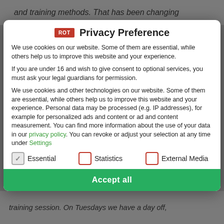and training methods. That has been changing
Privacy Preference
We use cookies on our website. Some of them are essential, while others help us to improve this website and your experience.
If you are under 16 and wish to give consent to optional services, you must ask your legal guardians for permission.
We use cookies and other technologies on our website. Some of them are essential, while others help us to improve this website and your experience. Personal data may be processed (e.g. IP addresses), for example for personalized ads and content or ad and content measurement. You can find more information about the use of your data in our privacy policy. You can revoke or adjust your selection at any time under Settings.
Essential
Statistics
External Media
Accept all
training session. On Tuesdays we have a day off,